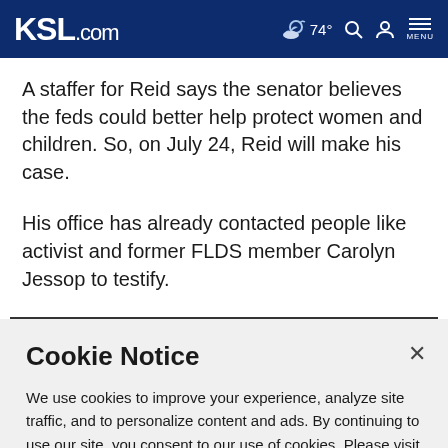KSL.com  74°  MENU
A staffer for Reid says the senator believes the feds could better help protect women and children. So, on July 24, Reid will make his case.
His office has already contacted people like activist and former FLDS member Carolyn Jessop to testify.
Cookie Notice
We use cookies to improve your experience, analyze site traffic, and to personalize content and ads. By continuing to use our site, you consent to our use of cookies. Please visit our Terms of Use and Privacy Policy for more information.
Continue